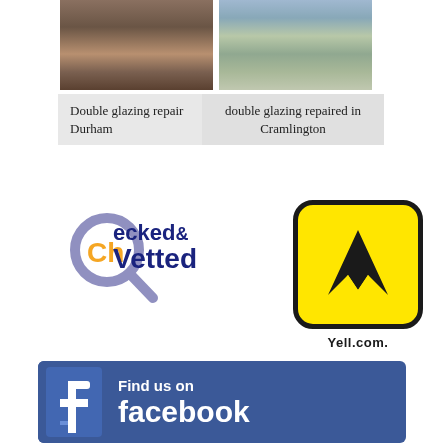[Figure (photo): Two photos side by side: left photo shows interior with radiator and dark misted double glazing unit; right photo shows exterior garden view through repaired window with rain.]
Double glazing repair Durham
double glazing repaired in Cramlington
[Figure (logo): Checked & Vetted logo with magnifying glass icon, orange 'Ch' and 'e', dark blue 'cked&' on top line, dark blue 'Vetted' on second line, purple magnifying glass.]
[Figure (logo): Yell.com logo: yellow rounded square with black border containing black figure/person icon, with 'Yell.com.' text below in black bold font.]
[Figure (logo): Facebook 'Find us on facebook' banner: blue background with white Facebook 'f' logo on left, white text 'Find us on' and 'facebook' on right.]